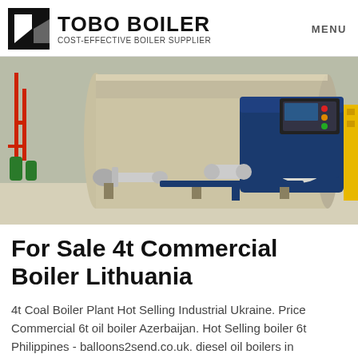TOBO BOILER COST-EFFECTIVE BOILER SUPPLIER | MENU
[Figure (photo): Industrial commercial boiler photographed in an indoor facility. A large horizontal cylindrical beige/cream tank on the left connected to a blue mechanical burner/motor assembly on the right. Red pipes and green cylinders visible on the far left. Yellow equipment on far right edge.]
For Sale 4t Commercial Boiler Lithuania
4t Coal Boiler Plant Hot Selling Industrial Ukraine. Price Commercial 6t oil boiler Azerbaijan. Hot Selling boiler 6t Philippines - balloons2send.co.uk. diesel oil boilers in